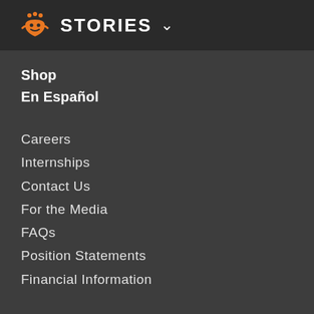STORIES
Shop
En Español
Careers
Internships
Contact Us
For the Media
FAQs
Position Statements
Financial Information
[Figure (other): Social media icons row: Facebook, Twitter, Instagram, Pinterest, LinkedIn, YouTube]
[Figure (other): Social media icons row 2 (partial): additional social icons]